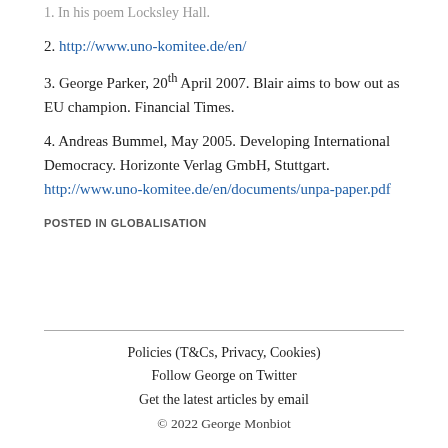1. In his poem Locksley Hall.
2. http://www.uno-komitee.de/en/
3. George Parker, 20th April 2007. Blair aims to bow out as EU champion. Financial Times.
4. Andreas Bummel, May 2005. Developing International Democracy. Horizonte Verlag GmbH, Stuttgart. http://www.uno-komitee.de/en/documents/unpa-paper.pdf
POSTED IN GLOBALISATION
Policies (T&Cs, Privacy, Cookies)
Follow George on Twitter
Get the latest articles by email
© 2022 George Monbiot